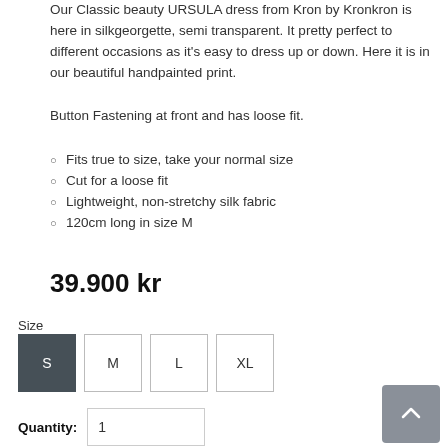Our Classic beauty URSULA dress from Kron by Kronkron is here in silkgeorgette, semi transparent. It pretty perfect to different occasions as it's easy to dress up or down. Here it is in our beautiful handpainted print.
Button Fastening at front and has loose fit.
Fits true to size, take your normal size
Cut for a loose fit
Lightweight, non-stretchy silk fabric
120cm long in size M
39.900 kr
Size
S M L XL
Quantity: 1